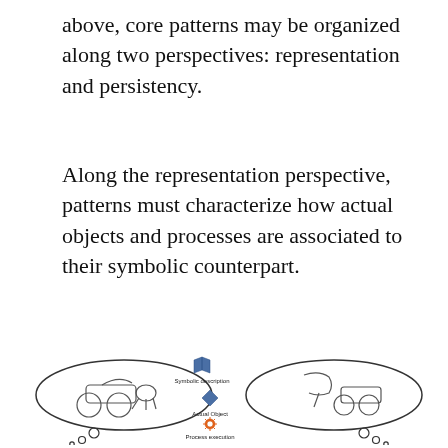above, core patterns may be organized along two perspectives: representation and persistency.
Along the representation perspective, patterns must characterize how actual objects and processes are associated to their symbolic counterpart.
[Figure (illustration): Illustration showing two thought bubbles (left: person thinking of a horse-drawn cart scene, right: person thinking of a flamingo with cart). Between/below the bubbles are four icons with labels: 'Symbolic description' (blue book), 'Actual Object' (blue diamond), 'Process execution' (orange sunburst/gear), 'Activity description' (orange gear). Two human figures stand below the thought bubbles. A moving cart is shown at the bottom center.]